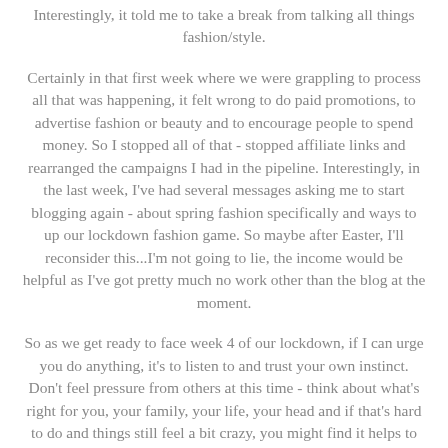Interestingly, it told me to take a break from talking all things fashion/style.
Certainly in that first week where we were grappling to process all that was happening, it felt wrong to do paid promotions, to advertise fashion or beauty and to encourage people to spend money. So I stopped all of that - stopped affiliate links and rearranged the campaigns I had in the pipeline. Interestingly, in the last week, I've had several messages asking me to start blogging again - about spring fashion specifically and ways to up our lockdown fashion game. So maybe after Easter, I'll reconsider this...I'm not going to lie, the income would be helpful as I've got pretty much no work other than the blog at the moment.
So as we get ready to face week 4 of our lockdown, if I can urge you do anything, it's to listen to and trust your own instinct. Don't feel pressure from others at this time - think about what's right for you, your family, your life, your head and if that's hard to do and things still feel a bit crazy, you might find it helps to